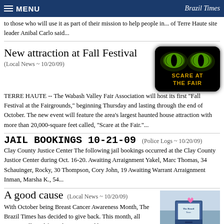MENU | Brazil Times
to those who will use it as part of their mission to help people in... of Terre Haute site leader Anibal Carlo said...
New attraction at Fall Festival
(Local News ~ 10/20/09)
[Figure (illustration): Scare at the Fair logo — green glowing cat eyes on black background with text 'SCARE AT THE FAIR']
TERRE HAUTE -- The Wabash Valley Fair Association will host its first "Fall Festival at the Fairgrounds," beginning Thursday and lasting through the end of October. The new event will feature the area's largest haunted house attraction with more than 20,000-square feet called, "Scare at the Fair."...
JAIL BOOKINGS 10-21-09
(Police Logs ~ 10/20/09)
Clay County Justice Center The following jail bookings occurred at the Clay County Justice Center during Oct. 16-20. Awaiting Arraignment Yakel, Marc Thomas, 34 Schauinger, Rocky, 30 Thompson, Cory John, 19 Awaiting Warrant Arraignment Inman, Marsha K., 54...
A good cause
(Local News ~ 10/20/09)
[Figure (photo): Photo of a Brazil Times newspaper stand/newsstand box wrapped with a pink ribbon for Breast Cancer Awareness Month]
With October being Breast Cancer Awareness Month, The Brazil Times has decided to give back. This month, all money collected from the newsstand box at